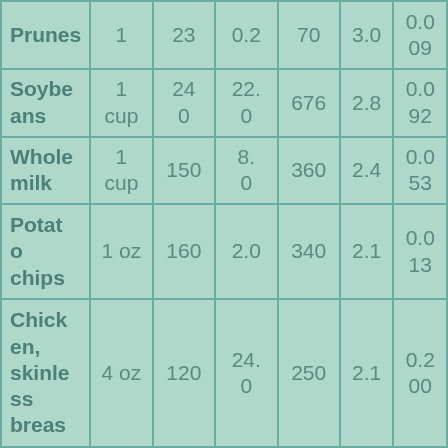| Prunes | 1 | 23 | 0.2 | 70 | 3.0 | 0.009 |
| Soybeans | 1 cup | 240 | 22.0 | 676 | 2.8 | 0.092 |
| Whole milk | 1 cup | 150 | 8.0 | 360 | 2.4 | 0.053 |
| Potato chips | 1 oz | 160 | 2.0 | 340 | 2.1 | 0.013 |
| Chicken, skinless breas | 4 oz | 120 | 24.0 | 250 | 2.1 | 0.200 |